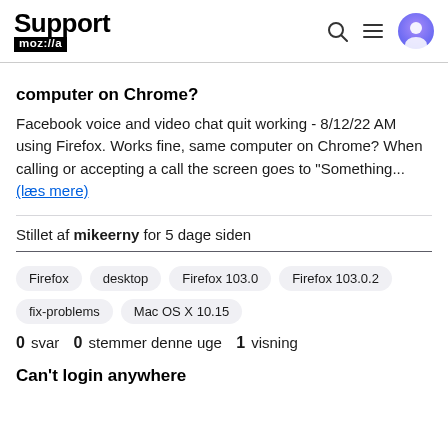Support moz://a
computer on Chrome?
Facebook voice and video chat quit working - 8/12/22 AM using Firefox. Works fine, same computer on Chrome? When calling or accepting a call the screen goes to "Something... (læs mere)
Stillet af mikeerny for 5 dage siden
Firefox  desktop  Firefox 103.0  Firefox 103.0.2  fix-problems  Mac OS X 10.15
0 svar  0 stemmer denne uge  1 visning
Can't login anywhere